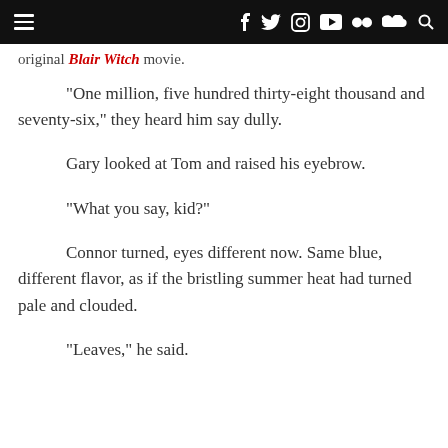Navigation bar with hamburger menu and social icons
original Blair Witch movie.
“One million, five hundred thirty-eight thousand and seventy-six,” they heard him say dully.
Gary looked at Tom and raised his eyebrow.
“What you say, kid?”
Connor turned, eyes different now. Same blue, different flavor, as if the bristling summer heat had turned pale and clouded.
“Leaves,” he said.